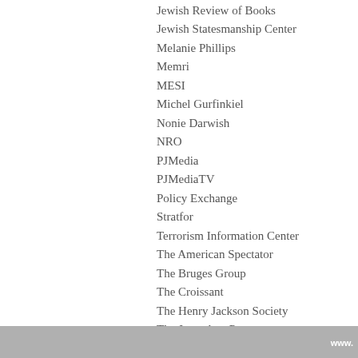Jewish Review of Books
Jewish Statesmanship Center
Melanie Phillips
Memri
MESI
Michel Gurfinkiel
Nonie Darwish
NRO
PJMedia
PJMediaTV
Policy Exchange
Stratfor
Terrorism Information Center
The American Spectator
The Bruges Group
The Croissant
The Henry Jackson Society
The Jerusalem Post
The Memri Blog
The Spectator
The Weekly Standard
Valeurs Actuelles
Vicariat Catholique Israélien
Victor David Hanson
www.